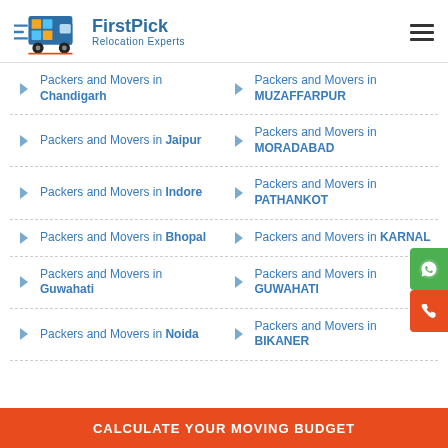FirstPick Relocation Experts
Packers and Movers in Chandigarh
Packers and Movers in MUZAFFARPUR
Packers and Movers in Jaipur
Packers and Movers in MORADABAD
Packers and Movers in Indore
Packers and Movers in PATHANKOT
Packers and Movers in Bhopal
Packers and Movers in KARNAL
Packers and Movers in Guwahati
Packers and Movers in GUWAHATI
Packers and Movers in Noida
Packers and Movers in BIKANER
CALCULATE YOUR MOVING BUDGET